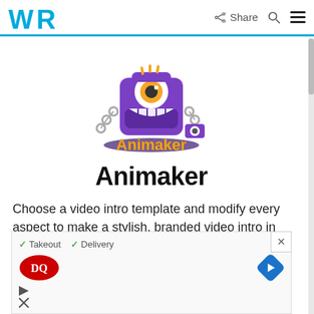WR | Share (search) (menu)
[Figure (logo): Animaker mascot logo — purple one-eyed robot character with orange 'Animaker' text below]
Animaker
Choose a video intro template and modify every aspect to make a stylish, branded video intro in less
[Figure (other): Advertisement banner with Dairy Queen (DQ) logo, checkmarks for Takeout and Delivery, navigation arrow icon, and ad attribution icons]